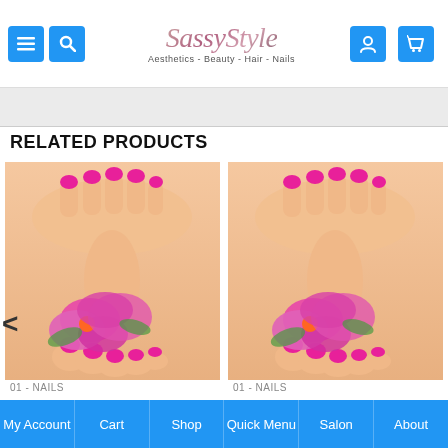SassyStyle Aesthetics - Beauty - Hair - Nails
RELATED PRODUCTS
[Figure (photo): Manicure and pedicure photo showing feet and hands with pink nails and pink orchid flowers - product image 1]
[Figure (photo): Manicure and pedicure photo showing feet and hands with pink nails and pink orchid flowers - product image 2]
01 - NAILS
01 - NAILS
My Account | Cart | Shop | Quick Menu | Salon | About